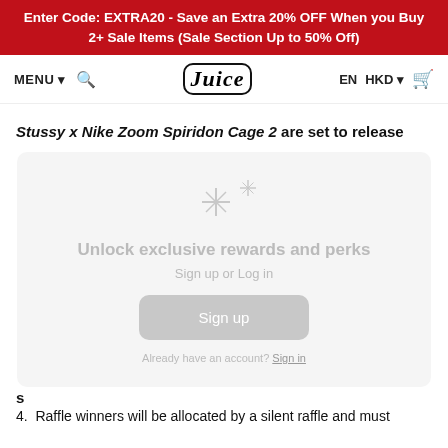Enter Code: EXTRA20 - Save an Extra 20% OFF When you Buy 2+ Sale Items (Sale Section Up to 50% Off)
MENU | Search | Juice [logo] | EN | HKD | Cart
Stussy x Nike Zoom Spiridon Cage 2 are set to release
[Figure (screenshot): Loyalty/rewards modal overlay with sparkle icons, heading 'Unlock exclusive rewards and perks', subtext 'Sign up or Log in', a 'Sign up' button, and footer text with 'Sign in' link.]
s
4. Raffle winners will be allocated by a silent raffle and must